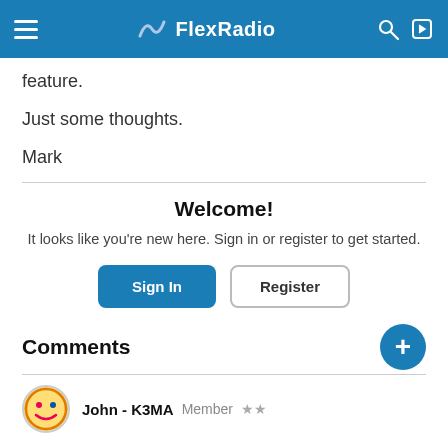FlexRadio
feature.
Just some thoughts.
Mark
Welcome!
It looks like you're new here. Sign in or register to get started.
Sign In | Register
Comments
John - K3MA  Member  ★★